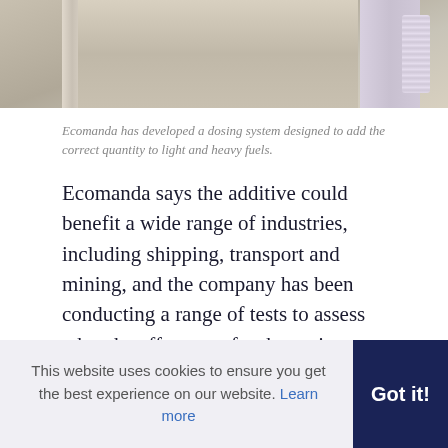[Figure (photo): Partial view of laboratory or industrial equipment — appears to show a white-framed panel or device on a bench, with wiring visible on the right side.]
Ecomanda has developed a dosing system designed to add the correct quantity to light and heavy fuels.
Ecomanda says the additive could benefit a wide range of industries, including shipping, transport and mining, and the company has been conducting a range of tests to assess what the effects are for the various industry-specific uses.
For example, tests on a towage vessel from Tschudi Ship Management and on a Caterpillar engine using PonPower's test bench in association with SGS and the
This website uses cookies to ensure you get the best experience on our website. Learn more
Got it!